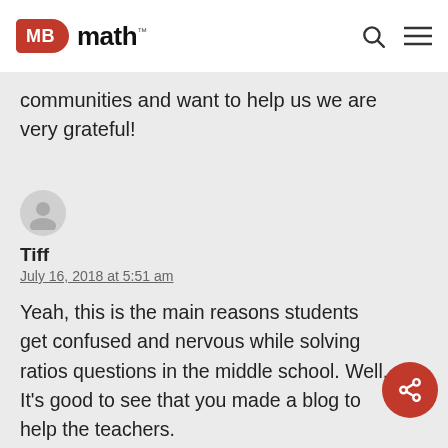MB math™
communities and want to help us we are very grateful!
[Figure (illustration): Generic user avatar circle icon in gray]
Tiff
July 16, 2018 at 5:51 am
Yeah, this is the main reasons students get confused and nervous while solving ratios questions in the middle school. Well, It's good to see that you made a blog to help the teachers.